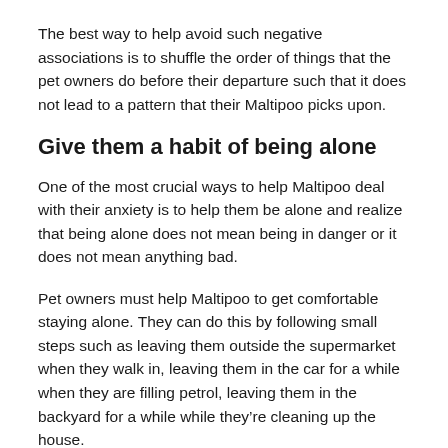The best way to help avoid such negative associations is to shuffle the order of things that the pet owners do before their departure such that it does not lead to a pattern that their Maltipoo picks upon.
Give them a habit of being alone
One of the most crucial ways to help Maltipoo deal with their anxiety is to help them be alone and realize that being alone does not mean being in danger or it does not mean anything bad.
Pet owners must help Maltipoo to get comfortable staying alone. They can do this by following small steps such as leaving them outside the supermarket when they walk in, leaving them in the car for a while when they are filling petrol, leaving them in the backyard for a while while they’re cleaning up the house.